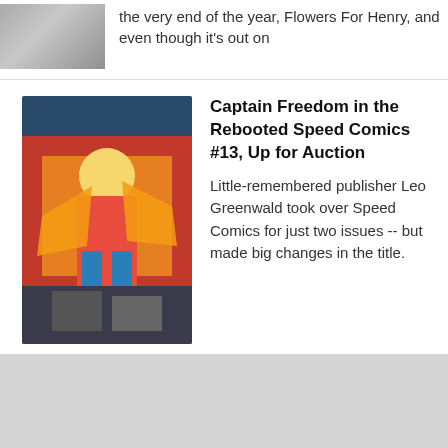[Figure (photo): Comic art image partially visible at top left]
the very end of the year, Flowers For Henry, and even though it's out on
[Figure (photo): Comic book cover art showing Captain Freedom in orange costume fighting, from Speed Comics #13]
Captain Freedom in the Rebooted Speed Comics #13, Up for Auction
Little-remembered publisher Leo Greenwald took over Speed Comics for just two issues -- but made big changes in the title.
© 2021 Bleeding Cool | Contact Us | Privacy Policy